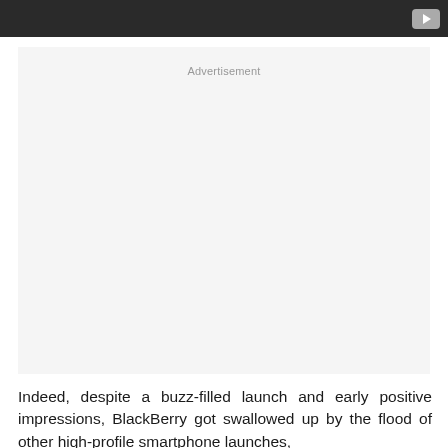[Figure (screenshot): Dark navigation/video bar with a YouTube play button icon in the top right corner]
Advertisement
Indeed, despite a buzz-filled launch and early positive impressions, BlackBerry got swallowed up by the flood of other high-profile smartphone launches, including the Samsung Galaxy S4. The...